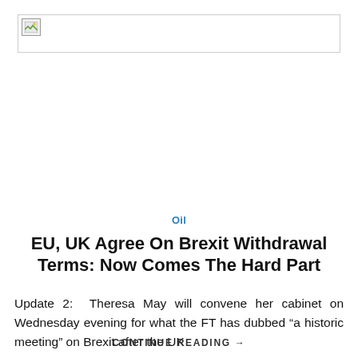[Figure (other): Broken image placeholder with small image icon in top-left corner, bordered box]
Oil
EU, UK Agree On Brexit Withdrawal Terms: Now Comes The Hard Part
Update 2:  Theresa May will convene her cabinet on Wednesday evening for what the FT has dubbed “a historic meeting” on Brexit after the UK
CONTINUE READING →